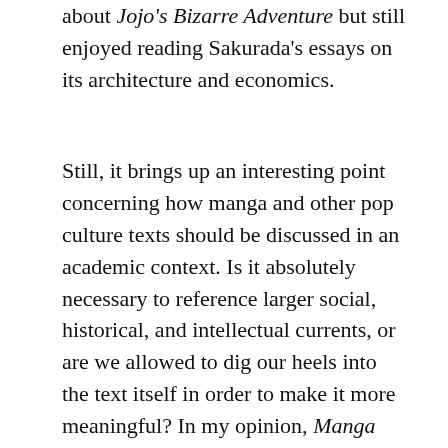about Jojo's Bizarre Adventure but still enjoyed reading Sakurada's essays on its architecture and economics.
Still, it brings up an interesting point concerning how manga and other pop culture texts should be discussed in an academic context. Is it absolutely necessary to reference larger social, historical, and intellectual currents, or are we allowed to dig our heels into the text itself in order to make it more meaningful? In my opinion, Manga through the Eyes of an Architect is close reading done right, and I can only hope that more formal English-language discussions of manga in this mode of inquiry appear as the related fields of Comics Studies and Anime and Manga Studies continue